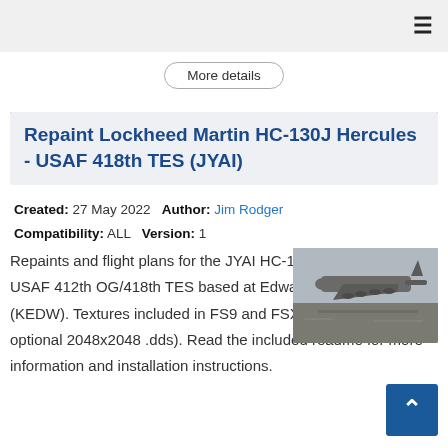≡
More details
Repaint Lockheed Martin HC-130J Hercules - USAF 418th TES (JYAI)
Created: 27 May 2022   Author: Jim Rodger
Compatibility: ALL   Version: 1
Repaints and flight plans for the JYAI HC-130J AI model of the USAF 412th OG/418th TES based at Edwards AFB (CA) (KEDW). Textures included in FS9 and FSX/P3Dv4 formats (and optional 2048x2048 .dds). Read the included readme for more information and installation instructions.
[Figure (photo): Photograph of a USAF HC-130J Hercules aircraft on tarmac at Edwards AFB]